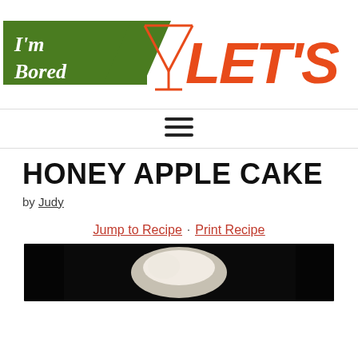[Figure (logo): I'm Bored LET'S GO... website logo with green rectangle, martini glass, and orange italic text]
[Figure (other): Hamburger menu icon (three horizontal lines)]
HONEY APPLE CAKE
by Judy
Jump to Recipe · Print Recipe
[Figure (photo): Close-up food photo of honey apple cake, dark background with light colored cake visible]